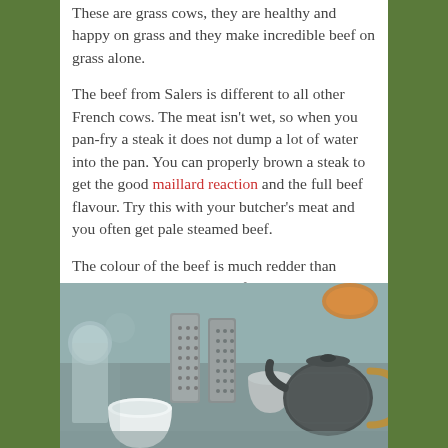These are grass cows, they are healthy and happy on grass and they make incredible beef on grass alone.
The beef from Salers is different to all other French cows. The meat isn't wet, so when you pan-fry a steak it does not dump a lot of water into the pan. You can properly brown a steak to get the good maillard reaction and the full beef flavour. Try this with your butcher's meat and you often get pale steamed beef.
The colour of the beef is much redder than butcher or supermarket beef, even when cooked well-done. The animals also marble well, with the most marbling of any French breed.
[Figure (photo): Photo of kitchen items including a white ceramic cup, metal containers with holes, and a dark teapot with a handle, arranged on a surface]